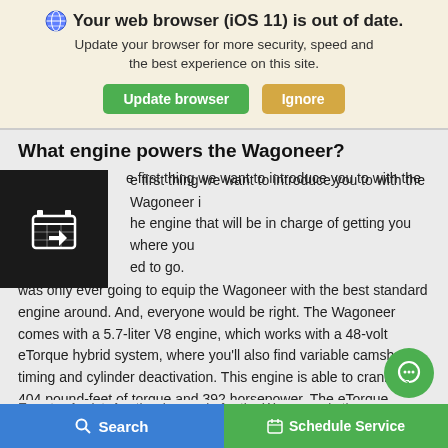🌐 Your web browser (iOS 11) is out of date. Update your browser for more security, speed and the best experience on this site.
Update browser | Ignore
What engine powers the Wagoneer?
The first thing we want to introduce you to with the Wagoneer is the engine that will be in charge of getting you where you need to go. Everyone should already guess by now that Jeep was only ever going to equip the Wagoneer with the best standard engine around. And, everyone would be right. The Wagoneer comes with a 5.7-liter V8 engine, which works with a 48-volt eTorque hybrid system, where you'll also find variable camshaft timing and cylinder deactivation. This engine is able to crank out 404 pound-feet of torque and 392 horsepower. The eTorque system is especially important given that it includes deceleration fuel shutoff, no-delay start/stop, and E-motor Assist. Another huge win for the Wagoneer is th...
Search | Schedule Service